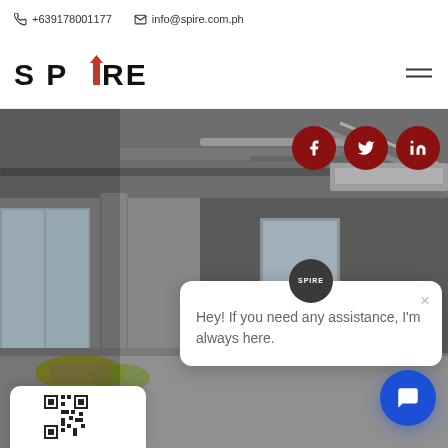☎ +639178001177  ✉ info@spire.com.ph
[Figure (logo): SPIRE logo with red building spire icon between P and R]
[Figure (photo): Interior of an unfinished commercial building space showing exposed concrete columns, ceiling with HVAC ducts and pipes, construction debris on floor, large windows on left side]
[Figure (infographic): Social media buttons: Facebook (f), Twitter bird, LinkedIn (in) — dark red circles with white icons]
Hey! If you need any assistance, I'm always here.
[Figure (other): Blue circular chat FAB button with speech bubble icon]
[Figure (other): QR code partial view at bottom left corner]